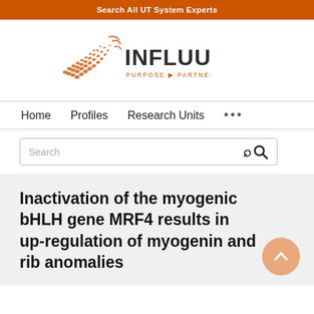Search All UT System Experts
[Figure (logo): Influuent logo with orange geometric arrow/fan shape on left and 'INFLUUENT' text in dark gray, with tagline 'PURPOSE ▶ PARTNERSHIP ▶ PROGRESS' in orange below]
Home   Profiles   Research Units   ...
Search
Inactivation of the myogenic bHLH gene MRF4 results in up-regulation of myogenin and rib anomalies